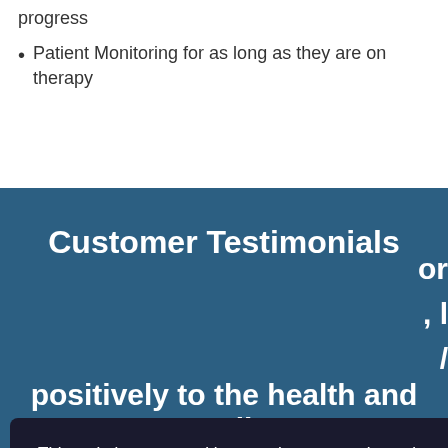progress
Patient Monitoring for as long as they are on therapy
Customer Testimonials
This website uses cookies to enhance your browsing experience.
OK, I AGREE
PRIVACY POLICY
positively to the health and well